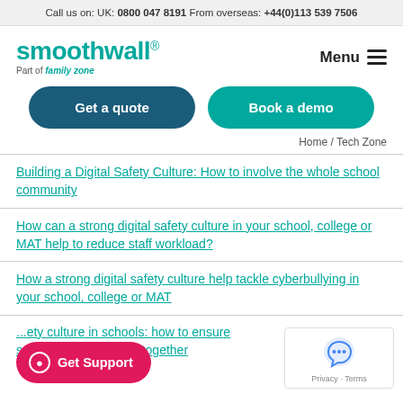Call us on: UK: 0800 047 8191 From overseas: +44(0)113 539 7506
[Figure (logo): Smoothwall logo - teal text with registered mark, 'Part of family zone' subtitle]
Menu
Get a quote
Book a demo
Home / Tech Zone
Building a Digital Safety Culture: How to involve the whole school community
How can a strong digital safety culture in your school, college or MAT help to reduce staff workload?
How a strong digital safety culture help tackle cyberbullying in your school, college or MAT
...ety culture in schools: how to ensure safety and work together
Get Support